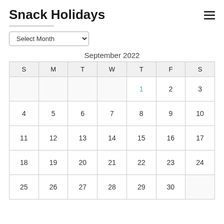Snack Holidays
[Figure (other): Hamburger menu icon (three horizontal lines)]
[Figure (other): Select Month dropdown control]
| S | M | T | W | T | F | S |
| --- | --- | --- | --- | --- | --- | --- |
|  |  |  |  | 1 | 2 | 3 |
| 4 | 5 | 6 | 7 | 8 | 9 | 10 |
| 11 | 12 | 13 | 14 | 15 | 16 | 17 |
| 18 | 19 | 20 | 21 | 22 | 23 | 24 |
| 25 | 26 | 27 | 28 | 29 | 30 |  |